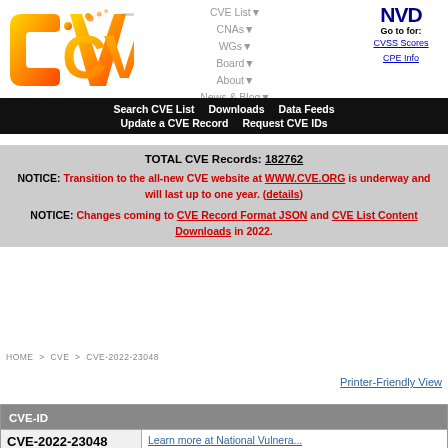[Figure (logo): CVE logo - orange gradient letters CVE with dot pattern]
CVE List▼  CNAs▼  WGs▼  Board▼  About▼  News & Blog▼
NVD Go to for: CVSS Scores CPE Info
Search CVE List   Downloads   Data Feeds   Update a CVE Record   Request CVE IDs
TOTAL CVE Records: 182762
NOTICE: Transition to the all-new CVE website at WWW.CVE.ORG is underway and will last up to one year. (details)
NOTICE: Changes coming to CVE Record Format JSON and CVE List Content Downloads in 2022.
HOME > CVE > CVE-2022-23048
Printer-Friendly View
| CVE-ID |  |
| --- | --- |
| CVE-2022-23048 | Learn more at National Vulnera... |